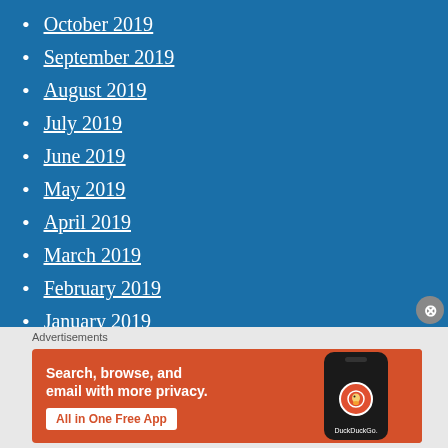October 2019
September 2019
August 2019
July 2019
June 2019
May 2019
April 2019
March 2019
February 2019
January 2019
December 2018
November 2018
Advertisements
[Figure (other): DuckDuckGo advertisement banner: 'Search, browse, and email with more privacy. All in One Free App' on orange background with phone graphic showing DuckDuckGo logo]